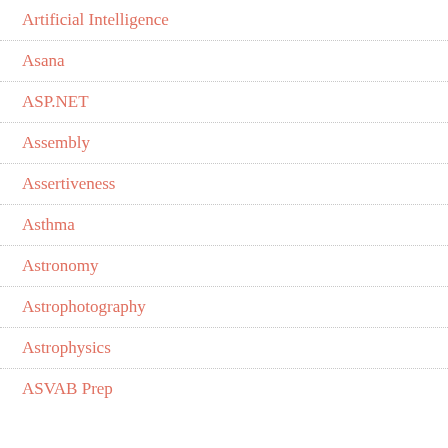Artificial Intelligence
Asana
ASP.NET
Assembly
Assertiveness
Asthma
Astronomy
Astrophotography
Astrophysics
ASVAB Prep